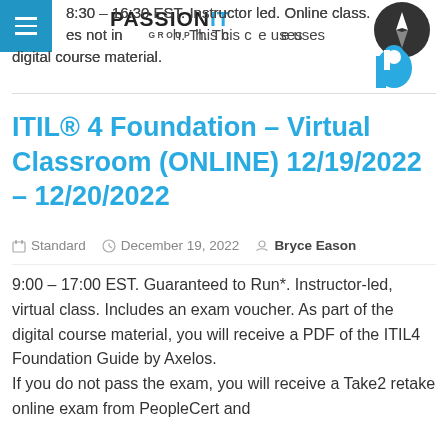PassionIT Group
8:30 – 16:30 EST. Instructor led. Online class. Does not include a lunch. This course uses digital course material.
ITIL® 4 Foundation – Virtual Classroom (ONLINE) 12/19/2022 – 12/20/2022
Standard  December 19, 2022  Bryce Eason
9:00 – 17:00 EST. Guaranteed to Run*. Instructor-led, virtual class. Includes an exam voucher. As part of the digital course material, you will receive a PDF of the ITIL4 Foundation Guide by Axelos.
If you do not pass the exam, you will receive a Take2 retake online exam from PeopleCert and